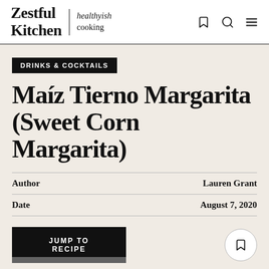Zestful Kitchen | healthyish cooking
DRINKS & COCKTAILS
Maíz Tierno Margarita (Sweet Corn Margarita)
|  |  |
| --- | --- |
| Author | Lauren Grant |
| Date | August 7, 2020 |
JUMP TO RECIPE